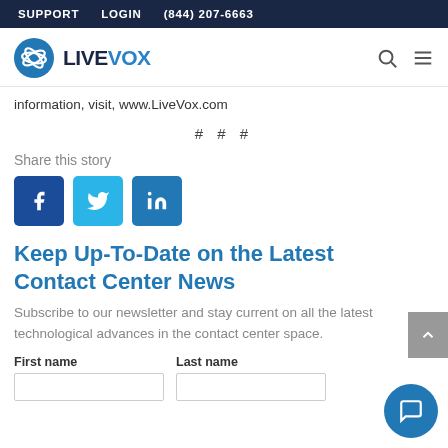SUPPORT   LOGIN   (844) 207-6663
[Figure (logo): LiveVox logo with blue circle icon and LIVEVOX wordmark, plus search and menu icons on right]
information, visit, www.LiveVox.com
# # #
Share this story
[Figure (infographic): Social sharing buttons: Facebook (dark blue), Twitter (light blue), LinkedIn (medium blue)]
Keep Up-To-Date on the Latest Contact Center News
Subscribe to our newsletter and stay current on all the latest technological advances in the contact center space.
First name   Last name